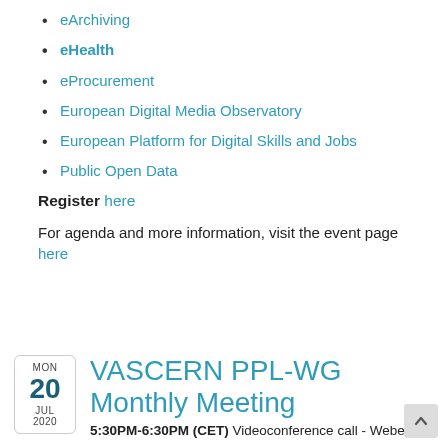eArchiving
eHealth
eProcurement
European Digital Media Observatory
European Platform for Digital Skills and Jobs
Public Open Data
Register here
For agenda and more information, visit the event page here
MON 20 JUL 2020 VASCERN PPL-WG Monthly Meeting 5:30PM-6:30PM (CET) Videoconference call - Webex